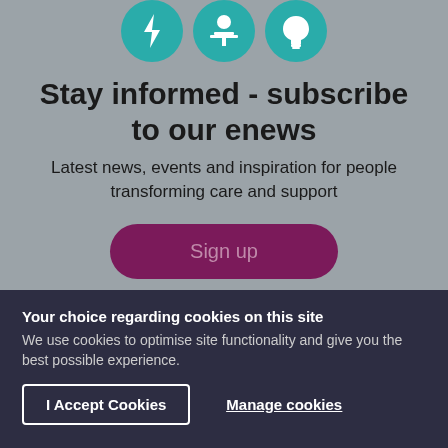[Figure (illustration): Three teal circular icons showing a lightning bolt, a person at a podium, and a lightbulb, partially cropped at the top]
Stay informed - subscribe to our enews
Latest news, events and inspiration for people transforming care and support
Sign up
Your choice regarding cookies on this site
We use cookies to optimise site functionality and give you the best possible experience.
I Accept Cookies
Manage cookies